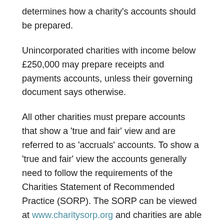determines how a charity's accounts should be prepared.
Unincorporated charities with income below £250,000 may prepare receipts and payments accounts, unless their governing document says otherwise.
All other charities must prepare accounts that show a 'true and fair' view and are referred to as 'accruals' accounts. To show a 'true and fair' view the accounts generally need to follow the requirements of the Charities Statement of Recommended Practice (SORP). The SORP can be viewed at www.charitysorp.org and charities are able to build a bespoke version of the SORP dealing with their own circumstances.